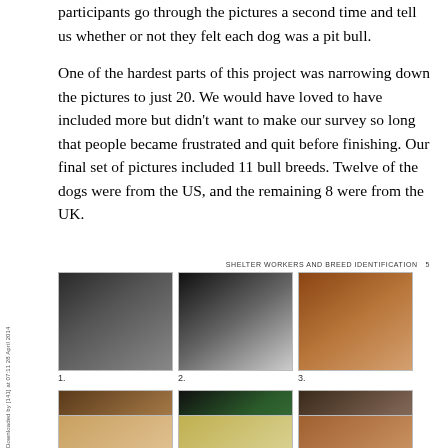participants go through the pictures a second time and tell us whether or not they felt each dog was a pit bull.
One of the hardest parts of this project was narrowing down the pictures to just 20. We would have loved to have included more but didn't want to make our survey so long that people became frustrated and quit before finishing. Our final set of pictures included 11 bull breeds. Twelve of the dogs were from the US, and the remaining 8 were from the UK.
SHELTER WORKERS AND BREED IDENTIFICATION   5
[Figure (photo): Grid of dog photographs numbered 1 through 6, arranged in two rows of three. Row 1: dog 1 (black/dark dog lying down with red toy), dog 2 (white/grey bulldog standing, dark background), dog 3 (brown/tan Boston terrier type dog standing). Row 2: dog 4 (brindle boxer-type dog), dog 5 (black and white dog standing on grass), dog 6 (dark brindle dog). Row 3 (partial): three more dog photos beginning to appear at bottom.]